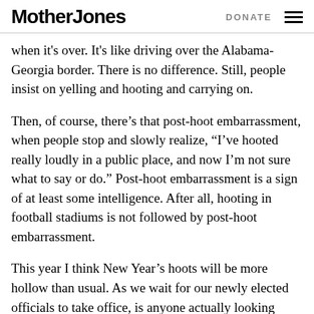Mother Jones | DONATE
when it's over. It's like driving over the Alabama-Georgia border. There is no difference. Still, people insist on yelling and hooting and carrying on.
Then, of course, there’s that post-hoot embarrassment, when people stop and slowly realize, “I’ve hooted really loudly in a public place, and now I’m not sure what to say or do.” Post-hoot embarrassment is a sign of at least some intelligence. After all, hooting in football stadiums is not followed by post-hoot embarrassment.
This year I think New Year’s hoots will be more hollow than usual. As we wait for our newly elected officials to take office, is anyone actually looking